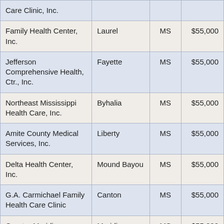| Care Clinic, Inc. |  |  |  |
| Family Health Center, Inc. | Laurel | MS | $55,000 |
| Jefferson Comprehensive Health, Ctr., Inc. | Fayette | MS | $55,000 |
| Northeast Mississippi Health Care, Inc. | Byhalia | MS | $55,000 |
| Amite County Medical Services, Inc. | Liberty | MS | $55,000 |
| Delta Health Center, Inc. | Mound Bayou | MS | $55,000 |
| G.A. Carmichael Family Health Care Clinic | Canton | MS | $55,000 |
| Greater Meridian | Meridian | MS | $55,000 |